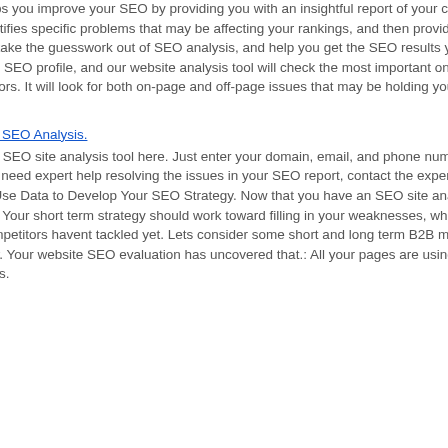improve your site? Nextrion's free webpage analysis tool helps you improve your SEO by providing you with an insightful report of your current website's' SEO status, as well as that of your competitors. Our tool identifies specific problems that may be affecting your rankings, and then provides easy to understand and easy to follow solutions to correct them. We take the guesswork out of SEO analysis, and help you get the SEO results you want. Top SEO Checks Covered. There is a lot that goes into building a good SEO profile, and our website analysis tool will check the most important ones. Our free website auditor checks your site against 56 SEO ranking factors. It will look for both on-page and off-page issues that may be holding you back.
How to Analyze SEO for Your Website w Free Website SEO Analysis.
Get a Free SEO Analysis Here. MARION has provided a free SEO site analysis tool here. Just enter your domain, email, and phone number, and well send a brief search engine optimization report to your inbox. If you need expert help resolving the issues in your SEO report, contact the experts at our SEO company in Austin and Houston today. Were happy to help. Use Data to Develop Your SEO Strategy. Now that you have an SEO site analysis report using data from the tools above, you can develop an SEO strategy. Your short term strategy should work toward filling in your weaknesses, while your long term strategy should focus on pursuing opportunities that your competitors havent tackled yet. Lets consider some short and long term B2B marketing strategy examples to give you a better idea. Short Term SEO Strategy. Your website SEO evaluation has uncovered that.: All your pages are using H2 tags where there should be H1 tags. Your site has 30 broken internal links.